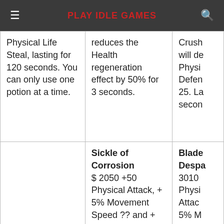PLAY IDLE GAMES
| Column 1 | Column 2 | Column 3 |
| --- | --- | --- |
| Physical Life Steal, lasting for 120 seconds. You can only use one potion at a time. | reduces the Health regeneration effect by 50% for 3 seconds. | Crush... will de... Physi... Defen... 25. La... secon... |
|  | Sickle of Corrosion $ 2050 +50 Physical Attack, + 5% Movement Speed ?? and + 25% Attack Speed. Single Passive: Corrosion: Basic attacks have a 50% chance of... | Blade... Despa... 3010 Physi... Attac... 5% M... Speed Passi... Desp... |